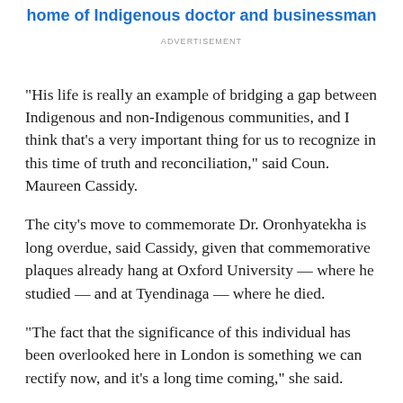home of Indigenous doctor and businessman
ADVERTISEMENT
"His life is really an example of bridging a gap between Indigenous and non-Indigenous communities, and I think that's a very important thing for us to recognize in this time of truth and reconciliation," said Coun. Maureen Cassidy.
The city's move to commemorate Dr. Oronhyatekha is long overdue, said Cassidy, given that commemorative plaques already hang at Oxford University — where he studied — and at Tyendinaga — where he died.
"The fact that the significance of this individual has been overlooked here in London is something we can rectify now, and it's a long time coming," she said.